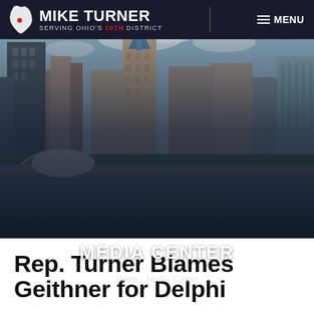MIKE TURNER — SERVING OHIO'S 10TH DISTRICT | MENU
[Figure (photo): Dayton Ohio city skyline with river and bridge in foreground, partly cloudy sky]
MEDIA CENTER
Home / Media Center
Rep. Turner Blames Geithner for Delphi